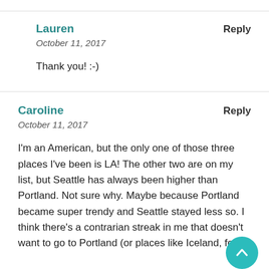Lauren
Reply
October 11, 2017
Thank you! :-)
Caroline
Reply
October 11, 2017
I'm an American, but the only one of those three places I've been is LA! The other two are on my list, but Seattle has always been higher than Portland. Not sure why. Maybe because Portland became super trendy and Seattle stayed less so. I think there's a contrarian streak in me that doesn't want to go to Portland (or places like Iceland, for